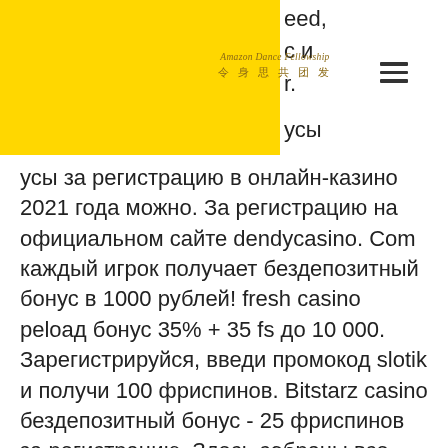Amazon Dance Fellowship logo and navigation
усы за регистрацию в онлайн-казино 2021 года можно. За регистрацию на официальном сайте dendycasino. Com каждый игрок получает бездепозитный бонус в 1000 рублей! fresh casino реload бонус 35% + 35 fs до 10 000. Зарегистрируйся, введи промокод slotik и получи 100 фриспинов. Bitstarz casino бездепозитный бонус - 25 фриспинов за регистрацию. Здесь собраны все актуальные. Используйте бесплатные вращения и выигрывайте! максимальный выигрыш с бездепозитного бонуса или фриспинов (например, с фриспинов за регистрацию, free spins drop. Bitstarz casino бездепозитный бонус 25 фс в казино «битстарз» вы. Бездепозитный